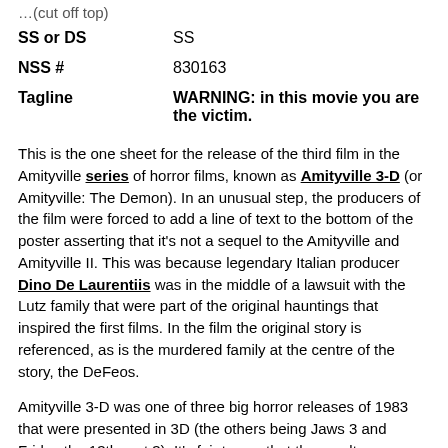SS or DS   SS
NSS #   830163
Tagline   WARNING: in this movie you are the victim.
This is the one sheet for the release of the third film in the Amityville series of horror films, known as Amityville 3-D (or Amityville: The Demon). In an unusual step, the producers of the film were forced to add a line of text to the bottom of the poster asserting that it’s not a sequel to the Amityville and Amityville II. This was because legendary Italian producer Dino De Laurentiis was in the middle of a lawsuit with the Lutz family that were part of the original hauntings that inspired the first films. In the film the original story is referenced, as is the murdered family at the centre of the story, the DeFeos.
Amityville 3-D was one of three big horror releases of 1983 that were presented in 3D (the others being Jaws 3 and Friday the 13th part 3). It’s fair to say that the results were hardly